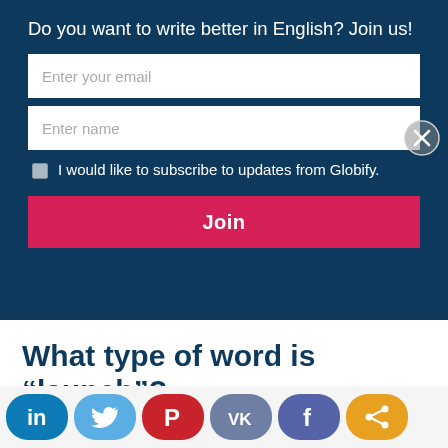Do you want to write better in English? Join us!
Enter your email
Enter name
I would like to subscribe to updates from Globify.
Join
What type of word is “launch”?
As you can see in the example sentences above, the word “launch” is both a noun and a verb:
[Figure (infographic): Social sharing bar with LinkedIn, Twitter, Pinterest, VK, Facebook, and share icons at the bottom of the page]